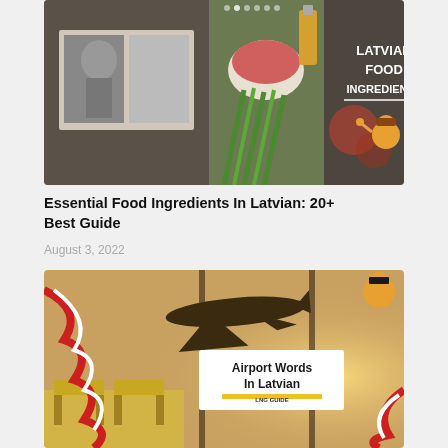[Figure (photo): Thumbnail image for 'Essential Food Ingredients In Latvian' article. Shows a collage of food items, ingredients, an open magazine/book, and text overlay reading 'LATVIAN FOOD INGREDIENTS' with a cartoon mascot character.]
Essential Food Ingredients In Latvian: 20+ Best Guide
August 3, 2022
[Figure (photo): Thumbnail image for 'Airport Words In Latvian' article. Shows an airport scene with an airplane silhouette, a departures/arrivals board, chairs, and a text box reading 'Airport Words In Latvian' with a yellow 'LNG GUIDE' banner and a cartoon mascot.]